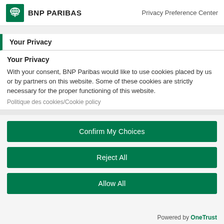BNP PARIBAS   Privacy Preference Center
Your Privacy
Your Privacy
With your consent, BNP Paribas would like to use cookies placed by us or by partners on this website. Some of these cookies are strictly necessary for the proper functioning of this website.
Politique des cookies/Cookie policy
Confirm My Choices
Reject All
Allow All
Powered by OneTrust